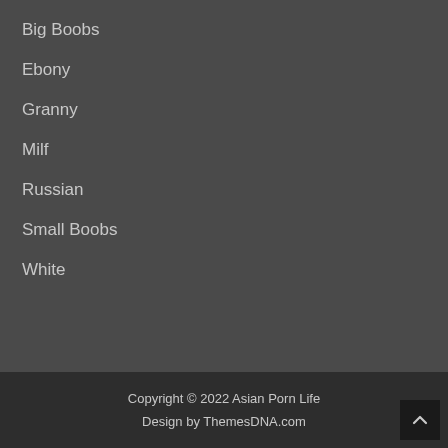Big Boobs
Ebony
Granny
Milf
Russian
Small Boobs
White
Copyright © 2022 Asian Porn Life
Design by ThemesDNA.com